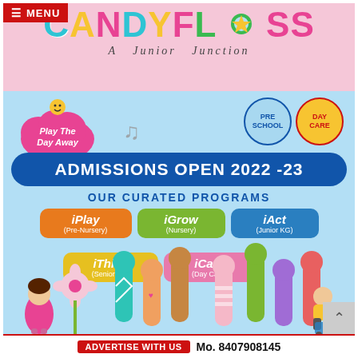≡ MENU
CANDYFLOSS A Junior Junction
[Figure (infographic): Candyfloss A Junior Junction school advertisement with Play The Day Away cloud badge, PRE SCHOOL and DAY CARE circular badges, Admissions Open 2022-23 banner, program pills (iPlay Pre-Nursery, iGrow Nursery, iAct Junior KG, iThink Senior KG, iCare Day Care), and colorful children illustration at bottom]
ADMISSIONS OPEN 2022 -23
OUR CURATED PROGRAMS
iPlay (Pre-Nursery)
iGrow (Nursery)
iAct (Junior KG)
iThink (Senior KG)
iCare (Day Care)
ADVERTISE WITH US  Mo. 8407908145